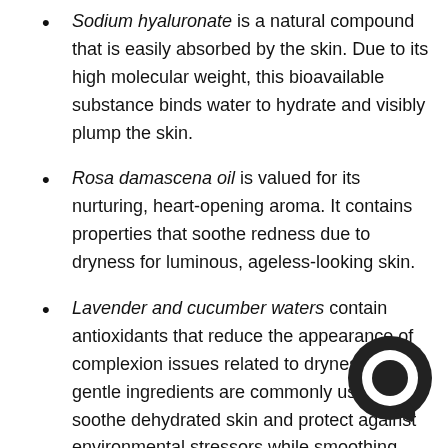Sodium hyaluronate is a natural compound that is easily absorbed by the skin. Due to its high molecular weight, this bioavailable substance binds water to hydrate and visibly plump the skin.
Rosa damascena oil is valued for its nurturing, heart-opening aroma. It contains properties that soothe redness due to dryness for luminous, ageless-looking skin.
Lavender and cucumber waters contain antioxidants that reduce the appearance of complexion issues related to dryness. These gentle ingredients are commonly used to soothe dehydrated skin and protect against environmental stressors while smoothing fine lines and wrinkles.